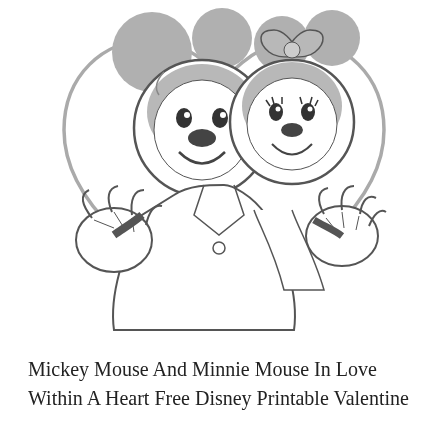[Figure (illustration): Line drawing / coloring page illustration of Mickey Mouse and Minnie Mouse together inside a heart shape. Mickey is on the left with his characteristic round ears, smiling and waving his gloved hand. Minnie is on the right with her bow, also smiling and gesturing. Both characters are rendered in gray-filled and outline style on a white background. A large heart outline frames them, with a small heart above.]
Mickey Mouse And Minnie Mouse In Love Within A Heart Free Disney Printable Valentine